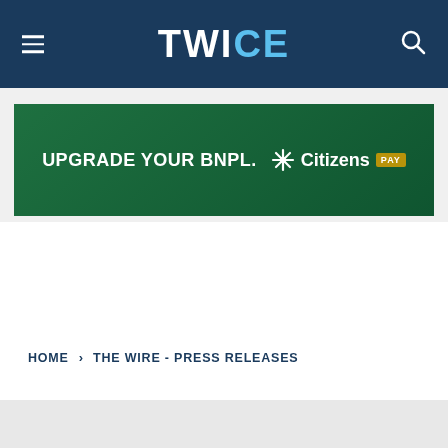TWICE
[Figure (illustration): Advertisement banner with dark green background showing text: UPGRADE YOUR BNPL. Citizens PAY]
HOME › THE WIRE - PRESS RELEASES